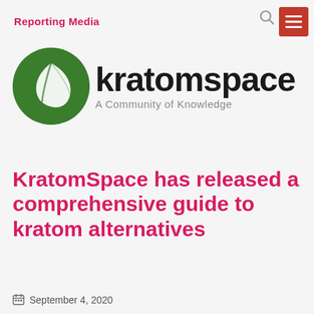Reporting Media
[Figure (logo): KratomSpace logo: green circle with white leaf icon, bold 'kratomspace' text, tagline 'A Community of Knowledge']
KratomSpace has released a comprehensive guide to kratom alternatives
September 4, 2020